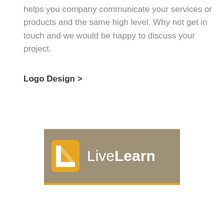helps you company communicate your services or products and the same high level. Why not get in touch and we would be happy to discuss your project.
Logo Design >
[Figure (logo): LiveLearn logo on a tan/khaki background with orange icon (stylized L shape) and white text reading 'LiveLearn', with an orange bottom border bar.]